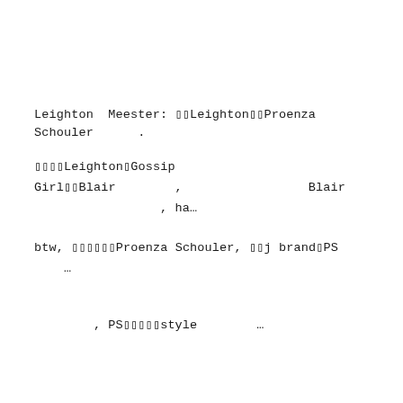Leighton Meester: ▯▯Leighton▯▯Proenza Schouler　　.
▯▯▯▯Leighton▯Gossip Girl▯▯Blair　　　　,　　　　　　　　Blair
　　　　　　　　, ha…
btw, ▯▯▯▯▯▯Proenza Schouler, ▯▯j brand▯PS
　…
, PS▯▯▯▯▯style　　　　　…